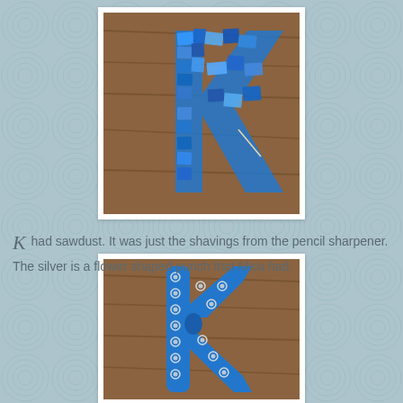[Figure (photo): Close-up photo of a blue letter K decorated with torn blue paper mosaic pieces, placed on a wooden surface.]
K had sawdust. It was just the shavings from the pencil sharpener. The silver is a flower shaped punch that Mica had.
[Figure (photo): Photo of a blue wooden letter K decorated with silver flower-shaped punches/studs, placed on a wooden surface.]